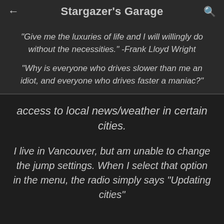Stargazer's Garage
"Give me the luxuries of life and I will willingly do without the necessities." -Frank Lloyd Wright
"Why is everyone who drives slower than me an idiot, and everyone who drives faster a maniac?"
access to local news/weather in certain cities.
I live in Vancouver, but am unable to change the jump settings. When I select that option in the menu, the radio simply says "Updating cities"